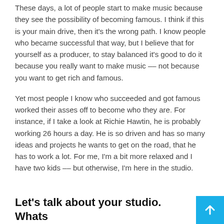These days, a lot of people start to make music because they see the possibility of becoming famous. I think if this is your main drive, then it's the wrong path. I know people who became successful that way, but I believe that for yourself as a producer, to stay balanced it's good to do it because you really want to make music –– not because you want to get rich and famous.
Yet most people I know who succeeded and got famous worked their asses off to become who they are. For instance, if I take a look at Richie Hawtin, he is probably working 26 hours a day. He is so driven and has so many ideas and projects he wants to get on the road, that he has to work a lot. For me, I'm a bit more relaxed and I have two kids –– but otherwise, I'm here in the studio.
Let's talk about your studio. Whats